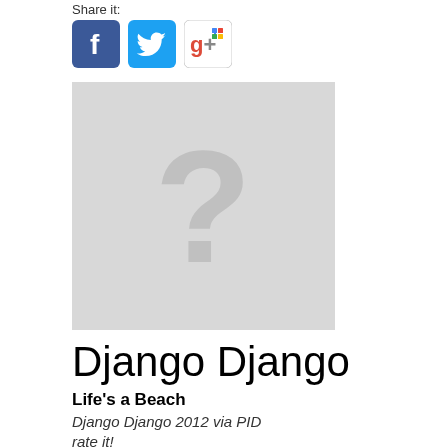Share it:
[Figure (other): Social share buttons: Facebook, Twitter, Google+]
[Figure (photo): Album art placeholder image with a large question mark on grey background]
Django Django
Life's a Beach
Django Django 2012 via PID
rate it!